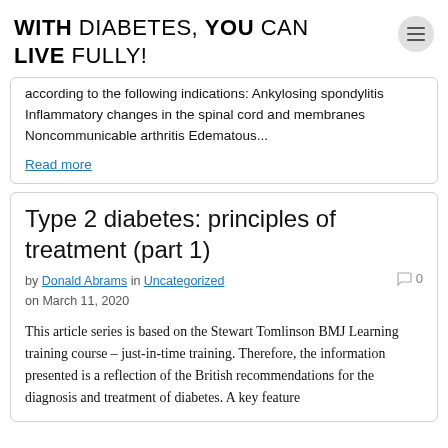WITH DIABETES, YOU CAN LIVE FULLY!
according to the following indications: Ankylosing spondylitis Inflammatory changes in the spinal cord and membranes Noncommunicable arthritis Edematous...
Read more
Type 2 diabetes: principles of treatment (part 1)
by Donald Abrams in Uncategorized on March 11, 2020
This article series is based on the Stewart Tomlinson BMJ Learning training course – just-in-time training. Therefore, the information presented is a reflection of the British recommendations for the diagnosis and treatment of diabetes. A key feature